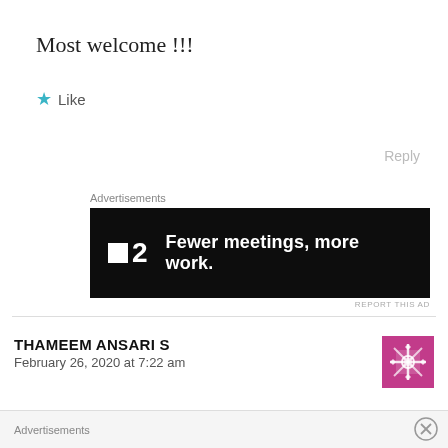Most welcome !!!
★ Like
Reply
Advertisements
[Figure (screenshot): Advertisement banner for a project management tool (F2) with dark background and text: Fewer meetings, more work.]
REPORT THIS AD
THAMEEM ANSARI S
February 26, 2020 at 7:22 am
[Figure (illustration): Purple avatar with geometric snowflake/cross pattern]
Thankyou Mam .
You are doing all these things for people sitting
Advertisements